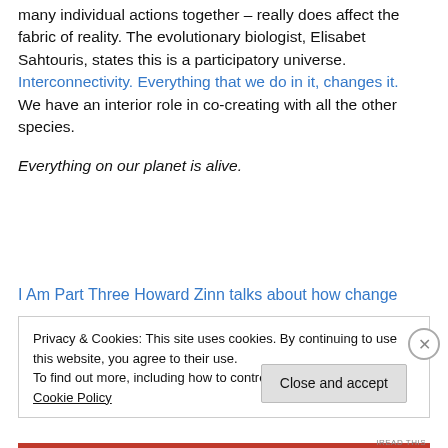many individual actions together – really does affect the fabric of reality. The evolutionary biologist, Elisabet Sahtouris, states this is a participatory universe. Interconnectivity. Everything that we do in it, changes it. We have an interior role in co-creating with all the other species.
Everything on our planet is alive.
I Am Part Three Howard Zinn talks about how change
Privacy & Cookies: This site uses cookies. By continuing to use this website, you agree to their use.
To find out more, including how to control cookies, see here: Cookie Policy